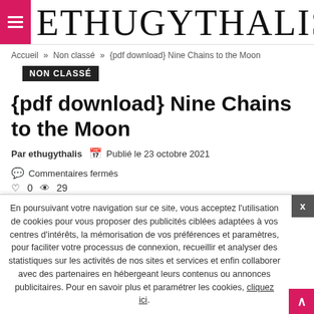ETHUGYTHALIS
Accueil » Non classé » {pdf download} Nine Chains to the Moon
NON CLASSÉ
{pdf download} Nine Chains to the Moon
Par ethugythalis   Publié le 23 octobre 2021   Commentaires fermés
0   29
[Figure (other): Social sharing buttons: Facebook, Twitter, Google+, Reddit, Pinterest, LinkedIn, Tumblr, WhatsApp, Telegram]
En poursuivant votre navigation sur ce site, vous acceptez l'utilisation de cookies pour vous proposer des publicités ciblées adaptées à vos centres d'intérêts, la mémorisation de vos préférences et paramètres, pour faciliter votre processus de connexion, recueillir et analyser des statistiques sur les activités de nos sites et services et enfin collaborer avec des partenaires en hébergeant leurs contenus ou annonces publicitaires. Pour en savoir plus et paramétrer les cookies, cliquez ici.